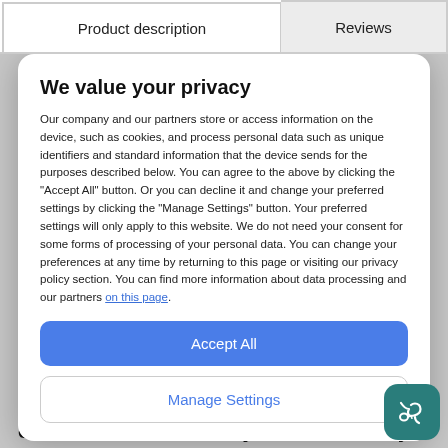Product description | Reviews
Gilded maple wood decoration that will
We value your privacy
Our company and our partners store or access information on the device, such as cookies, and process personal data such as unique identifiers and standard information that the device sends for the purposes described below. You can agree to the above by clicking the "Accept All" button. Or you can decline it and change your preferred settings by clicking the "Manage Settings" button. Your preferred settings will only apply to this website. We do not need your consent for some forms of processing of your personal data. You can change your preferences at any time by returning to this page or visiting our privacy policy section. You can find more information about data processing and our partners on this page.
Accept All
Manage Settings
can also use it to make your office, study or